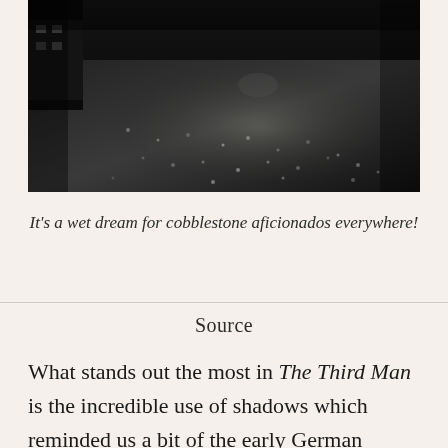[Figure (photo): Black and white photograph of a wet cobblestone street at night, with reflections of lights on the pavement, buildings visible on the left side]
It's a wet dream for cobblestone aficionados everywhere!
Source
What stands out the most in The Third Man is the incredible use of shadows which reminded us a bit of the early German expressionist films we watched, just turned up to 11 (as did a lot of the angles). The beautiful architecture of Vienna with the juxtaposition of the gorgeous buildings and the